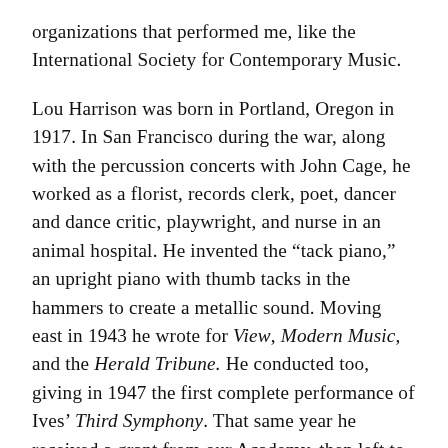organizations that performed me, like the International Society for Contemporary Music.
Lou Harrison was born in Portland, Oregon in 1917. In San Francisco during the war, along with the percussion concerts with John Cage, he worked as a florist, records clerk, poet, dancer and dance critic, playwright, and nurse in an animal hospital. He invented the “tack piano,” an upright piano with thumb tacks in the hammers to create a metallic sound. Moving east in 1943 he wrote for View, Modern Music, and the Herald Tribune. He conducted too, giving in 1947 the first complete performance of Ives’ Third Symphony. That same year he received a grant from our Academy, then left to teach at Black Mountain. In 1952 and ’54 he received